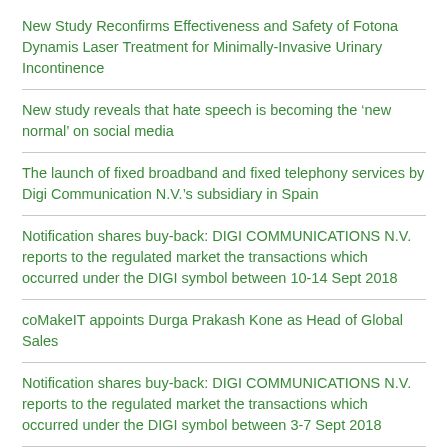New Study Reconfirms Effectiveness and Safety of Fotona Dynamis Laser Treatment for Minimally-Invasive Urinary Incontinence
New study reveals that hate speech is becoming the ‘new normal’ on social media
The launch of fixed broadband and fixed telephony services by Digi Communication N.V.’s subsidiary in Spain
Notification shares buy-back: DIGI COMMUNICATIONS N.V. reports to the regulated market the transactions which occurred under the DIGI symbol between 10-14 Sept 2018
coMakeIT appoints Durga Prakash Kone as Head of Global Sales
Notification shares buy-back: DIGI COMMUNICATIONS N.V. reports to the regulated market the transactions which occurred under the DIGI symbol between 3-7 Sept 2018
80% Satisfaction Rate in Europe for Customer Data Platform Early Adopters